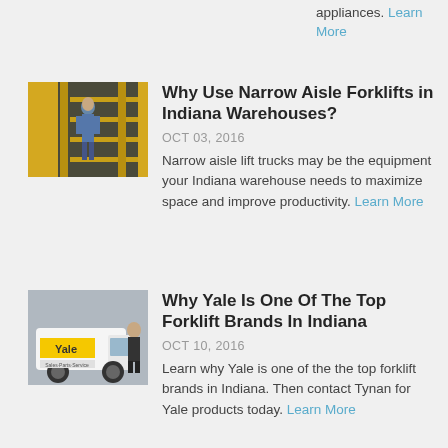appliances. Learn More
[Figure (photo): Worker in warehouse with narrow aisle forklift and yellow shelving]
Why Use Narrow Aisle Forklifts in Indiana Warehouses?
OCT 03, 2016
Narrow aisle lift trucks may be the equipment your Indiana warehouse needs to maximize space and improve productivity. Learn More
[Figure (photo): Yale branded service van with person standing beside it]
Why Yale Is One Of The Top Forklift Brands In Indiana
OCT 10, 2016
Learn why Yale is one of the the top forklift brands in Indiana. Then contact Tynan for Yale products today. Learn More